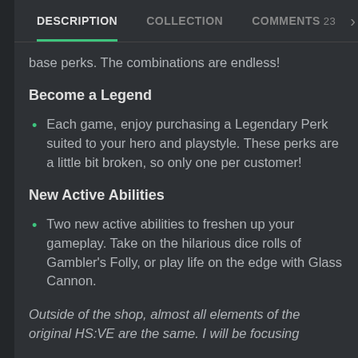DESCRIPTION   COLLECTION   COMMENTS 23 >
base perks. The combinations are endless!
Become a Legend
Each game, enjoy purchasing a Legendary Perk suited to your hero and playstyle. These perks are a little bit broken, so only one per customer!
New Active Abilities
Two new active abilities to freshen up your gameplay. Take on the hilarious dice rolls of Gambler's Folly, or play life on the edge with Glass Cannon.
Outside of the shop, almost all elements of the original HS:VE are the same. I will be focusing